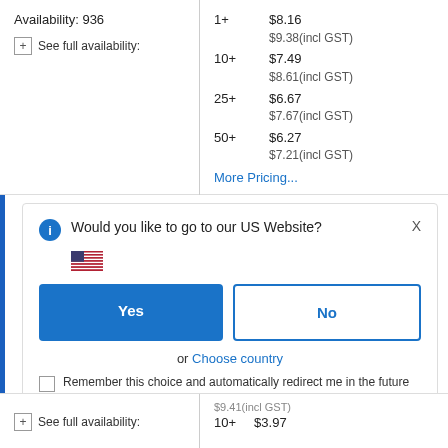Availability: 936
See full availability:
| Qty | Price |
| --- | --- |
| 1+ | $8.16 |
|  | $9.38(incl GST) |
| 10+ | $7.49 |
|  | $8.61(incl GST) |
| 25+ | $6.67 |
|  | $7.67(incl GST) |
| 50+ | $6.27 |
|  | $7.21(incl GST) |
More Pricing...
Would you like to go to our US Website?
[Figure (illustration): US flag emoji]
Yes
No
or Choose country
Remember this choice and automatically redirect me in the future
See full availability:
$9.41(incl GST)
10+
$3.97